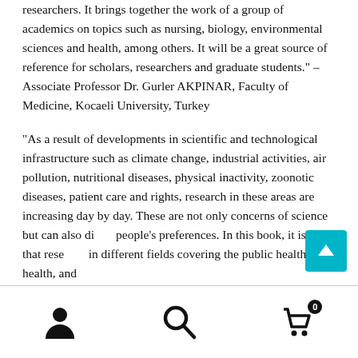researchers. It brings together the work of a group of academics on topics such as nursing, biology, environmental sciences and health, among others. It will be a great source of reference for scholars, researchers and graduate students." – Associate Professor Dr. Gurler AKPINAR, Faculty of Medicine, Kocaeli University, Turkey
“As a result of developments in scientific and technological infrastructure such as climate change, industrial activities, air pollution, nutritional diseases, physical inactivity, zoonotic diseases, patient care and rights, research in these areas are increasing day by day. These are not only concerns of science but can also di... people’s preferences. In this book, it is seen that rese... in different fields covering the public health, health, and
[Figure (infographic): Navigation bar with three icons: user/person icon, search/magnifying glass icon, and shopping cart icon with badge showing 0]